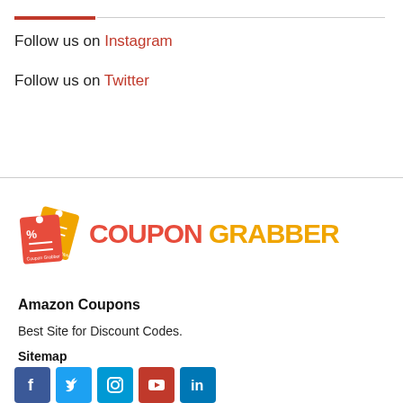Follow us on Instagram
Follow us on Twitter
[Figure (logo): CouponGrabber logo with coupon tag icons and text COUPON GRABBER]
Amazon Coupons
Best Site for Discount Codes.
Sitemap
[Figure (infographic): Row of social media icons: Facebook, Twitter, Instagram, YouTube, LinkedIn]